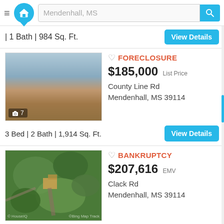Mendenhall, MS
| 1 Bath | 984 Sq. Ft.
[Figure (photo): Exterior photo of a single-story brick ranch house with overgrown yard and cloudy sky background]
FORECLOSURE
$185,000 List Price
County Line Rd
Mendenhall, MS 39114
3 Bed | 2 Bath | 1,914 Sq. Ft.
[Figure (photo): Aerial satellite view of a property with trees and a structure visible from above]
BANKRUPTCY
$207,616 EMV
Clack Rd
Mendenhall, MS 39114
| 2,052 Sq. Ft.